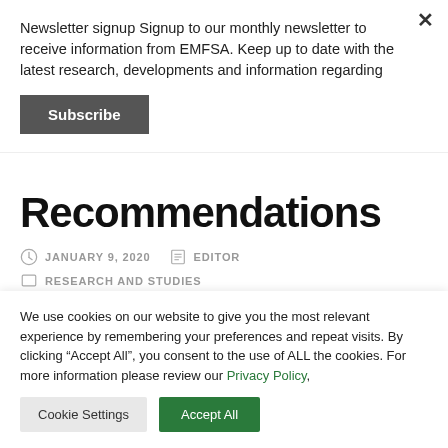Newsletter signup Signup to our monthly newsletter to receive information from EMFSA. Keep up to date with the latest research, developments and information regarding
Subscribe
Recommendations
JANUARY 9, 2020   EDITOR
RESEARCH AND STUDIES
We use cookies on our website to give you the most relevant experience by remembering your preferences and repeat visits. By clicking “Accept All”, you consent to the use of ALL the cookies. For more information please review our Privacy Policy,
Cookie Settings    Accept All